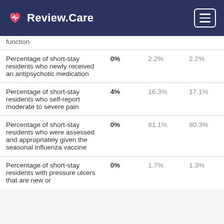Review.Care
| Measure | Facility | State Avg | National Avg |
| --- | --- | --- | --- |
| function |  |  |  |
| Percentage of short-stay residents who newly received an antipsychotic medication | 0% | 2.2% | 2.2% |
| Percentage of short-stay residents who self-report moderate to severe pain | 4% | 16.3% | 17.1% |
| Percentage of short-stay residents who were assessed and appropriately given the seasonal influenza vaccine | 0% | 81.1% | 80.3% |
| Percentage of short-stay residents with pressure ulcers that are new or | 0% | 1.7% | 1.3% |